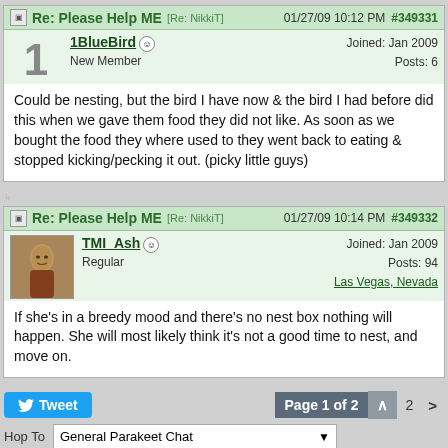Re: Please Help ME [Re: NikkiT] 01/27/09 10:12 PM #349331
1BlueBird ☺ New Member Joined: Jan 2009 Posts: 6
Could be nesting, but the bird I have now & the bird I had before did this when we gave them food they did not like. As soon as we bought the food they where used to they went back to eating & stopped kicking/pecking it out. (picky little guys)
Re: Please Help ME [Re: NikkiT] 01/27/09 10:14 PM #349332
TMI_Ash ☺ Regular Joined: Jan 2009 Posts: 94 Las Vegas, Nevada
If she's in a breedy mood and there's no nest box nothing will happen. She will most likely think it's not a good time to nest, and move on.
Tweet | Page 1 of 2 | 1 | 2 | > | Hop To: General Parakeet Chat